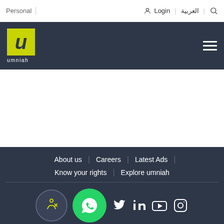Personal | Login | العربية
[Figure (logo): Umniah logo - yellow U on dark background with 'umniah' text below, hamburger menu on right]
About us | Careers | Latest Ads | Know your rights | Explore umniah
[Figure (infographic): Social media icons row: accessibility icon, WhatsApp, Twitter, LinkedIn, YouTube, Instagram]